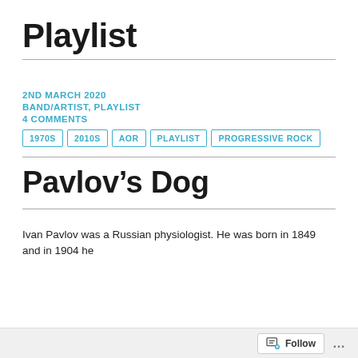Playlist
2ND MARCH 2020
BAND/ARTIST, PLAYLIST
4 COMMENTS
1970S
2010S
AOR
PLAYLIST
PROGRESSIVE ROCK
Pavlov’s Dog
Ivan Pavlov was a Russian physiologist. He was born in 1849 and in 1904 he